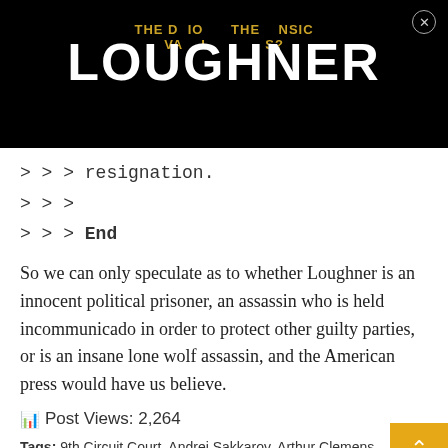THE DOES THE INTRINSIC VALUE OF DISSIDENTS? LOUGHNER
> > > resignation.
> > >
> > > End
So we can only speculate as to whether Loughner is an innocent political prisoner, an assassin who is held incommunicado in order to protect other guilty parties, or is an insane lone wolf assassin, and the American press would have us believe.
Post Views: 2,264
Tags: 9th Circuit Court, Andrei Sakkarov, Arthur Clemens, Assassins, Bolsheviks, Chris Denicola, CIA, Clockwork Orange,